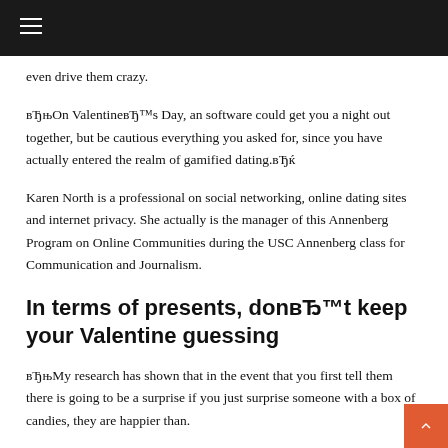even drive them crazy.
вЂњOn ValentineвЂ™s Day, an software could get you a night out together, but be cautious everything you asked for, since you have actually entered the realm of gamified dating.вЂќ
Karen North is a professional on social networking, online dating sites and internet privacy. She actually is the manager of this Annenberg Program on Online Communities during the USC Annenberg class for Communication and Journalism.
In terms of presents, donвЂ™t keep your Valentine guessing
вЂњMy research has shown that in the event that you first tell them there is going to be a surprise if you just surprise someone with a box of candies, they are happier than.